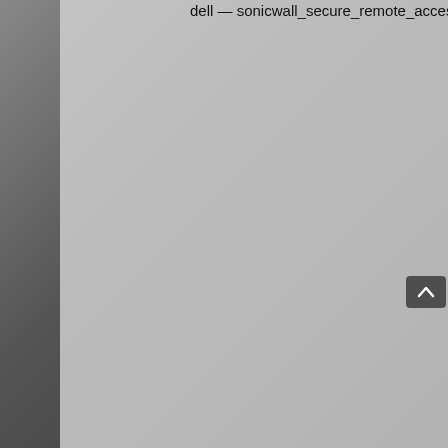| Vendor — Product | Description |
| --- | --- |
| dell — sonicwall_secure_remote_access_server | server (version ... to a Remote Co... vulnerability in it... interface. This vu... 'viewcert' CGI (/c... component resp... SSL certificate in... application does... information it's)... variable before... performed – allo... command inject... vulnerability yie... remote machine... account. |
| disksavvy — disksavvy_enterprise | Buffer overflow in DiskSavvy ... remote attac... |